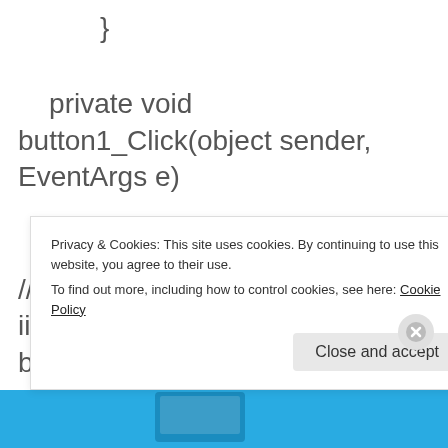}
private void button1_Click(object sender, EventArgs e)
{
//Put your url here.. i published to iis before using it from client.
Privacy & Cookies: This site uses cookies. By continuing to use this website, you agree to their use. To find out more, including how to control cookies, see here: Cookie Policy
Close and accept